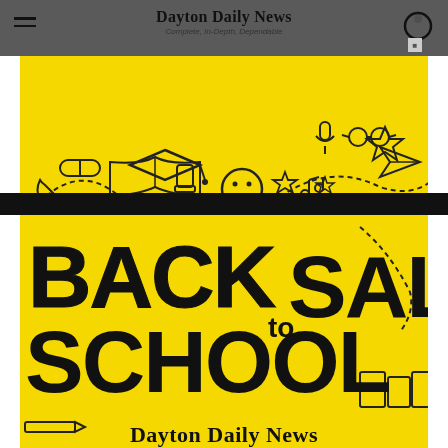Dayton Daily News — Complete, In-Depth, Dependable
[Figure (illustration): Back to School Sale advertisement on yellow background with hand-drawn school doodles (graduation cap, glasses, stars, smiley face, pencil, music notes, paper airplane) and bold dark text reading BACK TO SCHOOL SALE, with Dayton Daily News text at bottom]